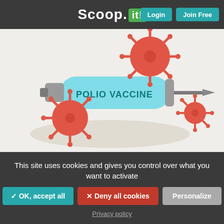Scoop.it! Login Join Free
[Figure (illustration): Illustration of a syringe labeled POLIO VACCINE in teal/cyan color, surrounded by red virus particles on a light beige/gray background]
From newatlas.com - August 18, 9:49 AM
“ A polio vaccine booster program has been announced in the UK targeting all London children under the age of 10. The program come after more detections of poliovirus in London’s wastewater indicate th
This site uses cookies and gives you control over what you want to activate
✓ OK, accept all
✕ Deny all cookies
Personalize
Privacy policy